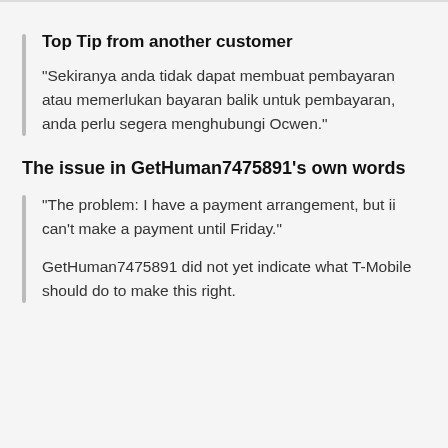Top Tip from another customer
"Sekiranya anda tidak dapat membuat pembayaran atau memerlukan bayaran balik untuk pembayaran, anda perlu segera menghubungi Ocwen."
The issue in GetHuman7475891's own words
"The problem: I have a payment arrangement, but ii can't make a payment until Friday."
GetHuman7475891 did not yet indicate what T-Mobile should do to make this right.